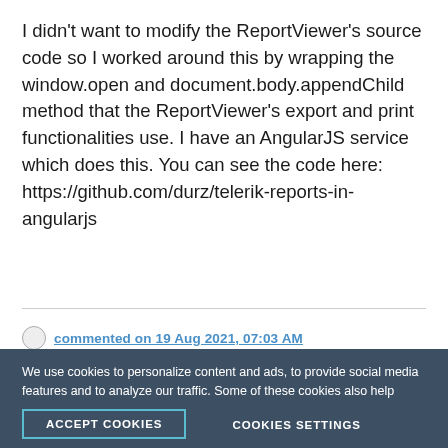I didn't want to modify the ReportViewer's source code so I worked around this by wrapping the window.open and document.body.appendChild method that the ReportViewer's export and print functionalities use. I have an AngularJS service which does this. You can see the code here: https://github.com/durz/telerik-reports-in-angularjs
commented on 19 Aug 2021, 07:03 AM
We use cookies to personalize content and ads, to provide social media features and to analyze our traffic. Some of these cookies also help improve your user experience on our websites, assist with navigation and your ability to provide feedback, and assist with our promotional and marketing efforts. Please read our Cookie Policy for a more detailed description and click on the settings button to customize how the site uses cookies for you.
ACCEPT COOKIES
COOKIES SETTINGS